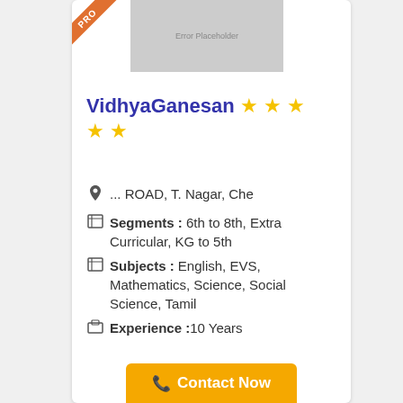[Figure (photo): Error Placeholder - tutor profile photo placeholder, gray rectangle]
VidhyaGanesan ★★★★★
... ROAD, T. Nagar, Che
Segments : 6th to 8th, Extra Curricular, KG to 5th
Subjects : English, EVS, Mathematics, Science, Social Science, Tamil
Experience :10 Years
Contact Now